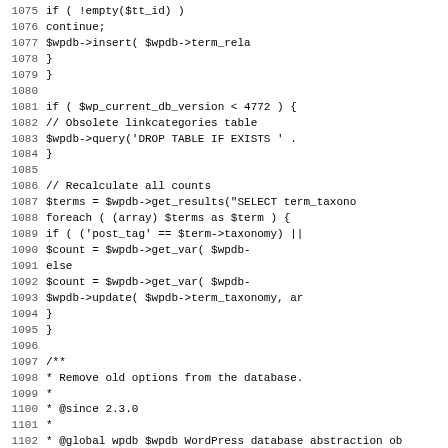Code listing lines 1075-1107 showing PHP WordPress upgrade functions
1075: if ( !empty($tt_id) )
1076:     continue;
1077:     $wpdb->insert( $wpdb->term_rela
1078:         }
1079:     }
1080:
1081:     if ( $wp_current_db_version < 4772 ) {
1082:         // Obsolete linkcategories table
1083:         $wpdb->query('DROP TABLE IF EXISTS ' .
1084:     }
1085:
1086:     // Recalculate all counts
1087:     $terms = $wpdb->get_results("SELECT term_taxono
1088:     foreach ( (array) $terms as $term ) {
1089:         if ( ('post_tag' == $term->taxonomy) ||
1090:                 $count = $wpdb->get_var( $wpdb-
1091:         else
1092:                 $count = $wpdb->get_var( $wpdb-
1093:         $wpdb->update( $wpdb->term_taxonomy, ar
1094:     }
1095: }
1096:
1097: /**
1098:  * Remove old options from the database.
1099:  *
1100:  * @since 2.3.0
1101:  *
1102:  * @global wpdb $wpdb WordPress database abstraction ob
1103:  */
1104: function upgrade_230_options_table() {
1105:     global $wpdb;
1106:     $old_options_fields = array( 'option_can_overri
1107:     $wpdb->hide_errors();